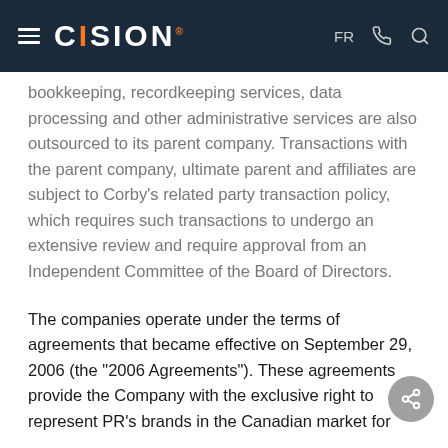CISION
bookkeeping, recordkeeping services, data processing and other administrative services are also outsourced to its parent company. Transactions with the parent company, ultimate parent and affiliates are subject to Corby's related party transaction policy, which requires such transactions to undergo an extensive review and require approval from an Independent Committee of the Board of Directors.
The companies operate under the terms of agreements that became effective on September 29, 2006 (the "2006 Agreements"). These agreements provide the Company with the exclusive right to represent PR's brands in the Canadian market for